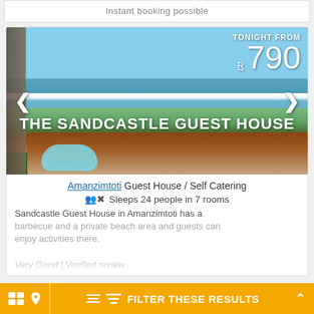Instant booking possible
[Figure (photo): The Sandcastle Guest House exterior with ocean view, pool, garden, and palm trees visible from elevated angle]
TONIGHT FROM R 790
THE SANDCASTLE GUEST HOUSE
Amanzimtoti Guest House / Self Catering
Sleeps 24 people in 7 rooms
Sandcastle Guest House in Amanzimtoti has a barbecue and a private beach area and guests can enjoy activities there.
Very Good | Verified review
FILTER THESE RESULTS